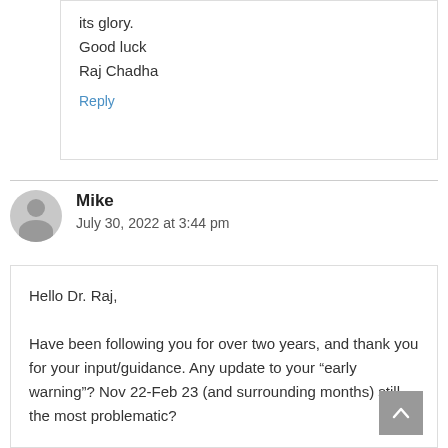its glory.
Good luck
Raj Chadha
Reply
Mike
July 30, 2022 at 3:44 pm
Hello Dr. Raj,

Have been following you for over two years, and thank you for your input/guidance. Any update to your “early warning”? Nov 22-Feb 23 (and surrounding months) still the most problematic?